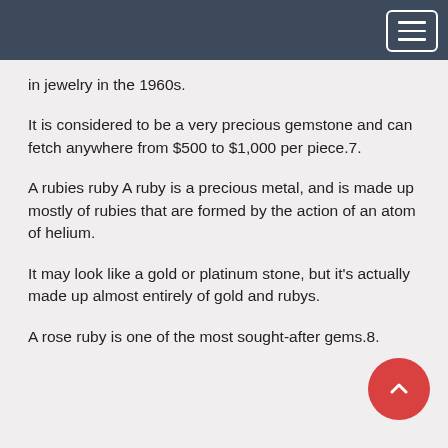in jewelry in the 1960s.
It is considered to be a very precious gemstone and can fetch anywhere from $500 to $1,000 per piece.7.
A rubies ruby A ruby is a precious metal, and is made up mostly of rubies that are formed by the action of an atom of helium.
It may look like a gold or platinum stone, but it's actually made up almost entirely of gold and rubys.
A rose ruby is one of the most sought-after gems.8.